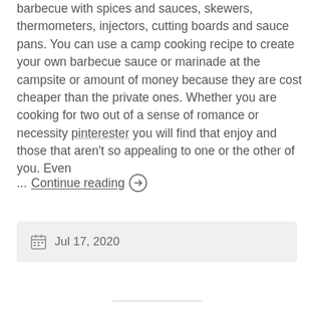barbecue with spices and sauces, skewers, thermometers, injectors, cutting boards and sauce pans. You can use a camp cooking recipe to create your own barbecue sauce or marinade at the campsite or amount of money because they are cost cheaper than the private ones. Whether you are cooking for two out of a sense of romance or necessity pinterester you will find that enjoy and those that aren't so appealing to one or the other of you. Even
... Continue reading →
Jul 17, 2020